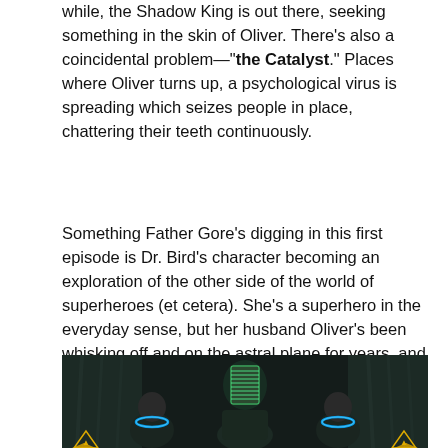while, the Shadow King is out there, seeking something in the skin of Oliver. There's also a coincidental problem—"the Catalyst." Places where Oliver turns up, a psychological virus is spreading which seizes people in place, chattering their teeth continuously.
Something Father Gore's digging in this first episode is Dr. Bird's character becoming an exploration of the other side of the world of superheroes (et cetera). She's a superhero in the everyday sense, but her husband Oliver's been whisking off and on the astral plane for years, and it's compelling to see how that affects her + their relationship. A great human look at the Marvel world.
[Figure (photo): Dark cinematic scene showing three figures: center figure has head wrapped in green glowing bandages/wrappings, flanked by two other figures with blue glowing neck/shoulder areas. Yellow triangle warning symbols visible in bottom corners. Dark teal/green curtain background.]